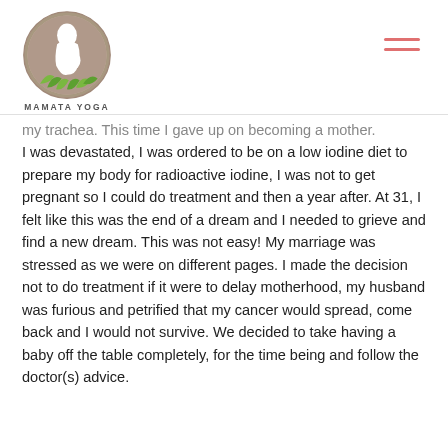MAMATA YOGA
my trachea. This time I gave up on becoming a mother. I was devastated, I was ordered to be on a low iodine diet to prepare my body for radioactive iodine, I was not to get pregnant so I could do treatment and then a year after. At 31, I felt like this was the end of a dream and I needed to grieve and find a new dream. This was not easy! My marriage was stressed as we were on different pages. I made the decision not to do treatment if it were to delay motherhood, my husband was furious and petrified that my cancer would spread, come back and I would not survive. We decided to take having a baby off the table completely, for the time being and follow the doctor(s) advice.